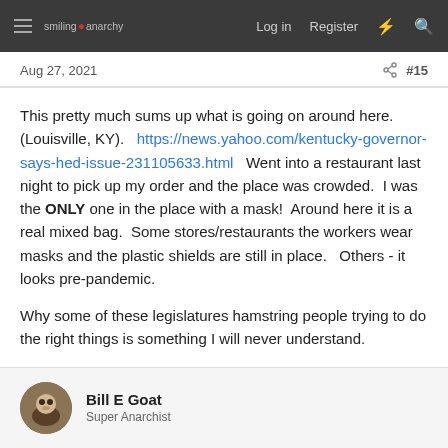smiling anarchy  Log in  Register  #15
Aug 27, 2021  #15
This pretty much sums up what is going on around here. (Louisville, KY).   https://news.yahoo.com/kentucky-governor-says-hed-issue-231105633.html   Went into a restaurant last night to pick up my order and the place was crowded.  I was the ONLY one in the place with a mask!  Around here it is a real mixed bag.  Some stores/restaurants the workers wear masks and the plastic shields are still in place.   Others - it looks pre-pandemic.

Why some of these legislatures hamstring people trying to do the right things is something I will never understand.
Bill E Goat
Super Anarchist